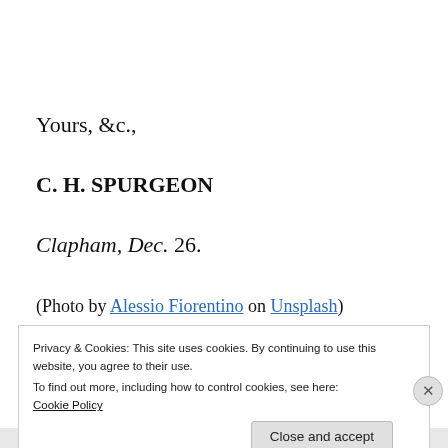Yours, &c.,
C. H. SPURGEON
Clapham, Dec. 26.
(Photo by Alessio Fiorentino on Unsplash)
Privacy & Cookies: This site uses cookies. By continuing to use this website, you agree to their use.
To find out more, including how to control cookies, see here:
Cookie Policy
Close and accept